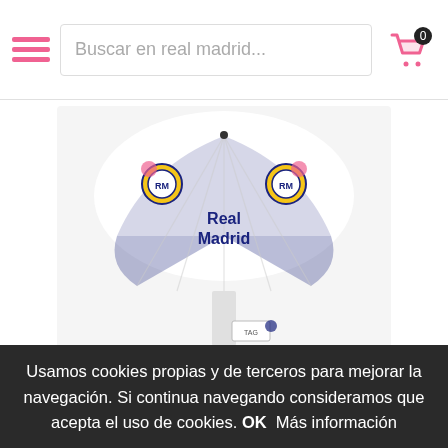Buscar en real madrid...
[Figure (photo): Real Madrid branded foldable children's umbrella showing white and dark blue design with Real Madrid logos and crests]
REAL MADRID PARAGUAS PLEGABLE INFANTIL REF AG-63-RM
14.00€
Usamos cookies propias y de terceros para mejorar la navegación. Si continua navegando consideramos que acepta el uso de cookies. OK  Más información